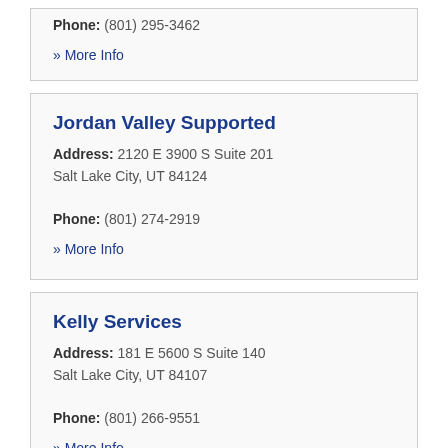Phone: (801) 295-3462
» More Info
Jordan Valley Supported
Address: 2120 E 3900 S Suite 201
Salt Lake City, UT 84124
Phone: (801) 274-2919
» More Info
Kelly Services
Address: 181 E 5600 S Suite 140
Salt Lake City, UT 84107
Phone: (801) 266-9551
» More Info